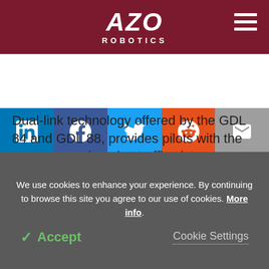AZO ROBOTICS
[Figure (infographic): Social media share buttons: LinkedIn, Facebook, Twitter, Reddit, Email]
Dual-link technology offered by the GDL 84 and GDL 88, provides pilots with the most comprehensive traffic picture available in the industry today as these solutions receive on both approved ADS-B frequencies. Enhancing the traffic picture, TargetTrend™ offers pilots a heightened state of
We use cookies to enhance your experience. By continuing to browse this site you agree to our use of cookies. More info.
✓ Accept   Cookie Settings